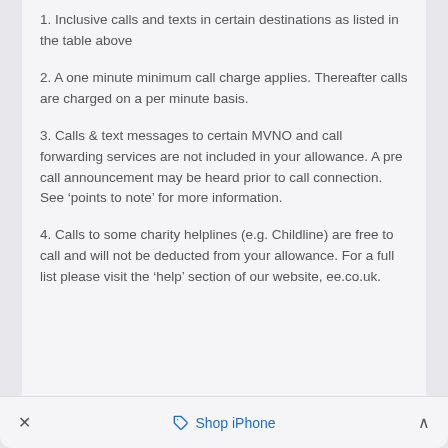1. Inclusive calls and texts in certain destinations as listed in the table above
2. A one minute minimum call charge applies. Thereafter calls are charged on a per minute basis.
3. Calls & text messages to certain MVNO and call forwarding services are not included in your allowance. A pre call announcement may be heard prior to call connection. See ‘points to note’ for more information.
4. Calls to some charity helplines (e.g. Childline) are free to call and will not be deducted from your allowance. For a full list please visit the ‘help’ section of our website, ee.co.uk.
×   🏷 Shop iPhone   ∧